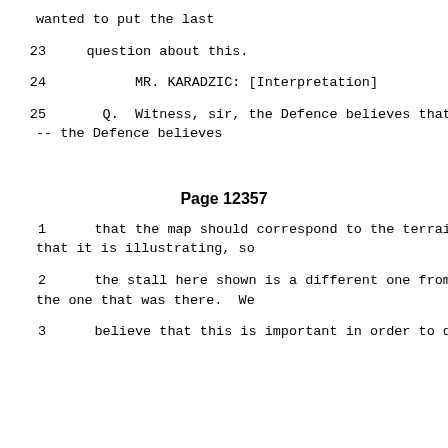wanted to put the last
23     question about this.
24          MR. KARADZIC: [Interpretation]
25      Q.  Witness, sir, the Defence believes that -- the Defence believes
Page 12357
1      that the map should correspond to the terrain that it is illustrating, so
2      the stall here shown is a different one from the one that was there.  We
3      believe that this is important in order to draw